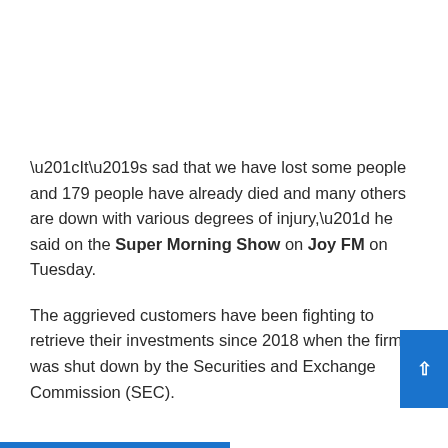“It’s sad that we have lost some people and 179 people have already died and many others are down with various degrees of injury,” he said on the Super Morning Show on Joy FM on Tuesday.
The aggrieved customers have been fighting to retrieve their investments since 2018 when the firm was shut down by the Securities and Exchange Commission (SEC).